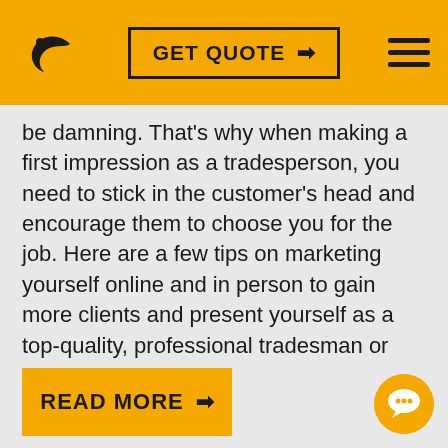GET QUOTE →
be damning. That's why when making a first impression as a tradesperson, you need to stick in the customer's head and encourage them to choose you for the job. Here are a few tips on marketing yourself online and in person to gain more clients and present yourself as a top-quality, professional tradesman or woman.
READ MORE →